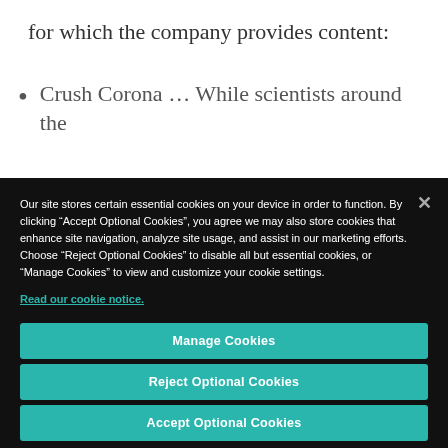for which the company provides content:
Crush Corona … While scientists around the
Our site stores certain essential cookies on your device in order to function. By clicking “Accept Optional Cookies”, you agree we may also store cookies that enhance site navigation, analyze site usage, and assist in our marketing efforts. Choose “Reject Optional Cookies” to disable all but essential cookies, or “Manage Cookies” to view and customize your cookie settings.
Read our cookie notice.
Manage Cookies
Reject Optional Cookies
Accept Optional Cookies